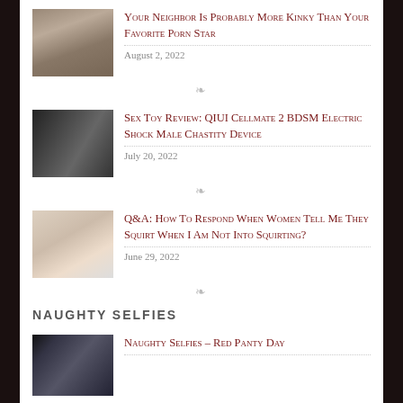Your Neighbor Is Probably More Kinky Than Your Favorite Porn Star
August 2, 2022
Sex Toy Review: QIUI Cellmate 2 BDSM Electric Shock Male Chastity Device
July 20, 2022
Q&A: How to respond when women tell me they squirt when I am not into squirting?
June 29, 2022
NAUGHTY SELFIES
Naughty Selfies – Red Panty Day